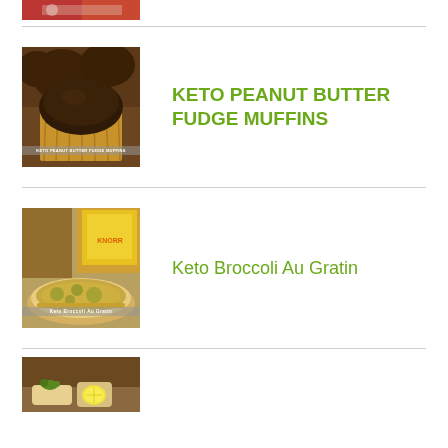[Figure (photo): Partial food photo at top of page (cropped)]
[Figure (photo): Keto peanut butter fudge muffins — chocolate muffin in cupcake liner with more muffins behind]
KETO PEANUT BUTTER FUDGE MUFFINS
[Figure (photo): Keto Broccoli Au Gratin — dish with broccoli in a casserole]
Keto Broccoli Au Gratin
[Figure (photo): Partial food photo at bottom of page (cropped) — appears to show fish with lemon]